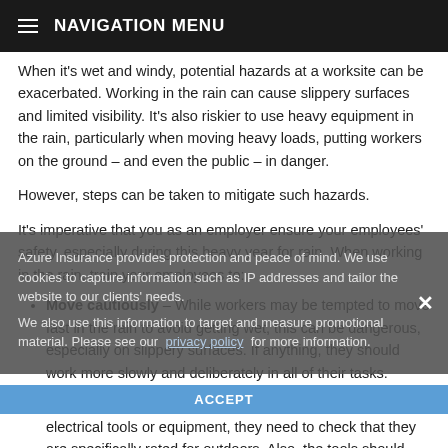NAVIGATION MENU
When it's wet and windy, potential hazards at a worksite can be exacerbated. Working in the rain can cause slippery surfaces and limited visibility. It's also riskier to use heavy equipment in the rain, particularly when moving heavy loads, putting workers on the ground – and even the public – in danger.
However, steps can be taken to mitigate such hazards.
It's imperative that you as an employer ensure your employees' safety, especially during this heavy year for rain. When working in the rain, train your employees to:
Move cautiously – While workers may be tempted to move fast in the rain to avoid getting wet, this can be dangerous, especially on slippery surfaces. If anything, they should work more slowly and deliberately in all of their tasks.
Use the correct equipment – If workers must use electrical tools or equipment, they need to check that they are specifically rated for outdoors. Also, the tools should have textured, no-slip grips and handles.
Don proper footwear – Workers should wear footwear with